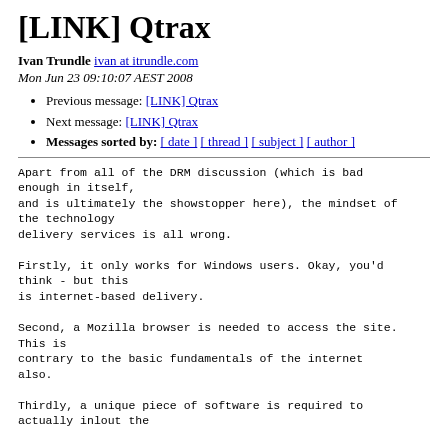[LINK] Qtrax
Ivan Trundle ivan at itrundle.com
Mon Jun 23 09:10:07 AEST 2008
Previous message: [LINK] Qtrax
Next message: [LINK] Qtrax
Messages sorted by: [ date ] [ thread ] [ subject ] [ author ]
Apart from all of the DRM discussion (which is bad enough in itself,
and is ultimately the showstopper here), the mindset of the technology
delivery services is all wrong.

Firstly, it only works for Windows users. Okay, you'd think - but this
is internet-based delivery.

Second, a Mozilla browser is needed to access the site. This is
contrary to the basic fundamentals of the internet also.

Thirdly, a unique piece of software is required to actually inlout the